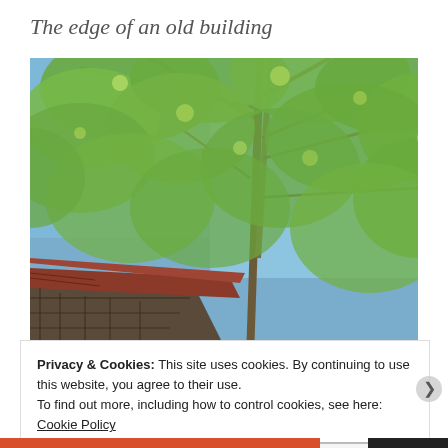The edge of an old building
[Figure (photo): Upward looking photo showing the edge of an old wooden building with a rusty metal roof in the lower left corner, surrounded by green trees with light foliage against a blue sky.]
Privacy & Cookies: This site uses cookies. By continuing to use this website, you agree to their use.
To find out more, including how to control cookies, see here: Cookie Policy
Close and accept